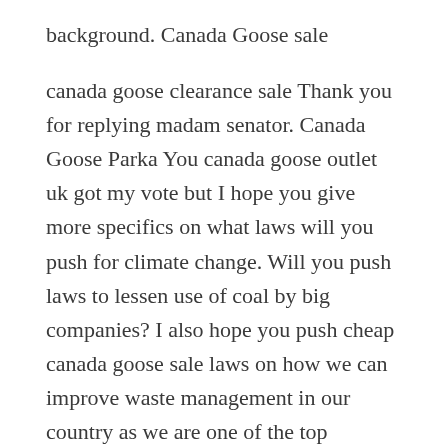background. Canada Goose sale
canada goose clearance sale Thank you for replying madam senator. Canada Goose Parka You canada goose outlet uk got my vote but I hope you give more specifics on what laws will you push for climate change. Will you push laws to lessen use of coal by big companies? I also hope you push cheap canada goose sale laws on how we can improve waste management in our country as we are one of the top countries that contribute solid waste in our ocean.. canada goose clearance sale
canada goose black friday sale A possible cloud over the offensive line is the status of the Regina born Clark, who was injured in a single vehicle accident Tuesday. He was still in a Saskatoon hospital on